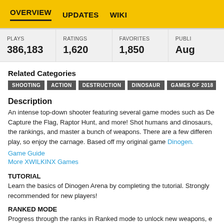OVERVIEW   UPDATES   WIKI
| PLAYS | RATINGS | FAVORITES | PUBLI... |
| --- | --- | --- | --- |
| 386,183 | 1,620 | 1,850 | Aug |
Related Categories
SHOOTING
ACTION
DESTRUCTION
DINOSAUR
GAMES OF 2018
EXPLO...
Description
An intense top-down shooter featuring several game modes such as De... Capture the Flag, Raptor Hunt, and more! Shot humans and dinosaurs, the rankings, and master a bunch of weapons. There are a few differen... play, so enjoy the carnage. Based off my original game Dinogen.
Game Guide
More XWILKINX Games
TUTORIAL
Learn the basics of Dinogen Arena by completing the tutorial. Strongly recommended for new players!
RANKED MODE
Progress through the ranks in Ranked mode to unlock new weapons, e...